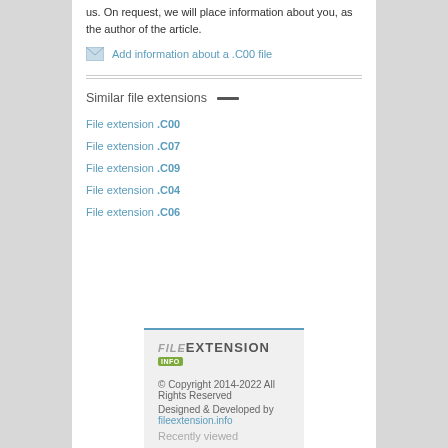us. On request, we will place information about you, as the author of the article.
Add information about a .C00 file
Similar file extensions
File extension .C00
File extension .C07
File extension .C09
File extension .C04
File extension .C06
FILEEXTENSION INFO
© Copyright 2014-2022 All Rights Reserved
Designed & Developed by fileextension.info
Recently viewed